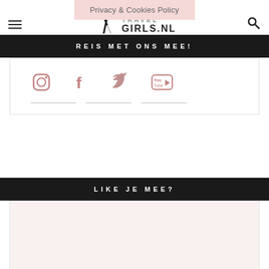Privacy & Cookies Policy
[Figure (logo): Travel Girls NL logo with TG monogram]
REIS MET ONS MEE!
[Figure (infographic): Social media icons: Instagram, Facebook, Twitter, YouTube with underlines below]
LIKE JE MEE?
[Figure (other): Facebook like box widget area (pinkish/empty)]